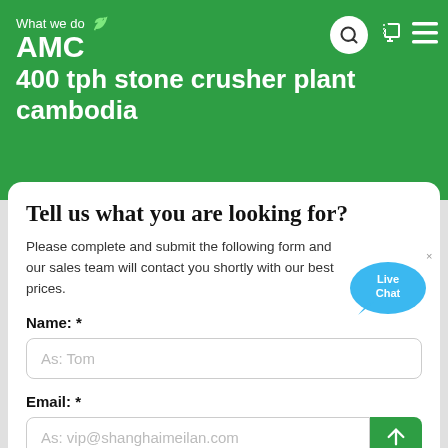What we do
AMC
400 tph stone crusher plant cambodia
Tell us what you are looking for?
Please complete and submit the following form and our sales team will contact you shortly with our best prices.
Name: *
As: Tom
Email: *
As: vip@shanghaimeilan.com
Phone: *
With Country Code